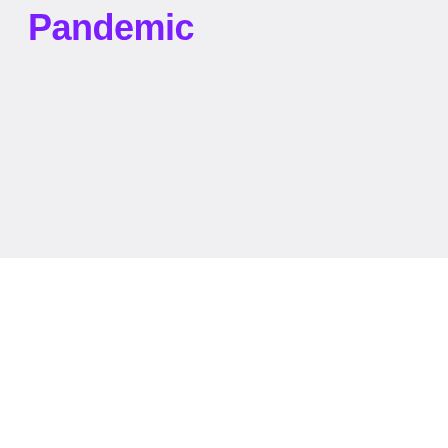Pandemic
[Figure (other): Large grey/light background image area occupying the top portion of the page]
KALEIDICO
Book a Discovery